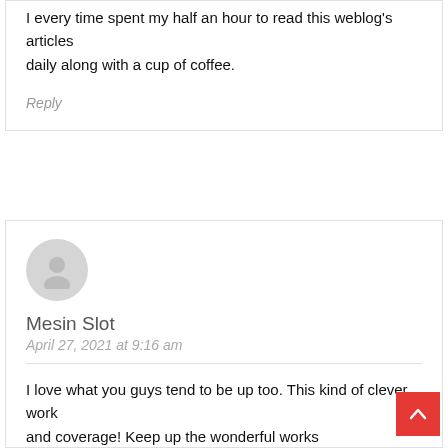I every time spent my half an hour to read this weblog's articles daily along with a cup of coffee.
Reply
[Figure (illustration): Gray circular avatar icon with silhouette of a person]
Mesin Slot
April 27, 2021 at 9:16 am
I love what you guys tend to be up too. This kind of clever work and coverage! Keep up the wonderful works